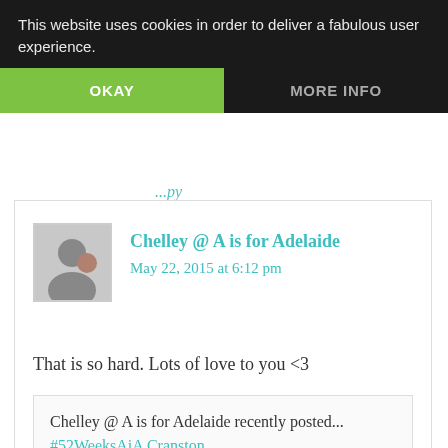This website uses cookies in order to deliver a fabulous user experience.
OKAY
MORE INFO
Chelley @ A is for Adelaide
May 22, 2015 at 6:12 pm
That is so hard. Lots of love to you <3
Chelley @ A is for Adelaide recently posted... #52WeeksAiA Cranston